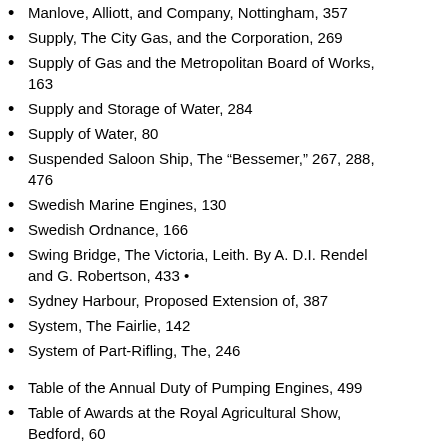Manlove, Alliott, and Company, Nottingham, 357
Supply, The City Gas, and the Corporation, 269
Supply of Gas and the Metropolitan Board of Works, 163
Supply and Storage of Water, 284
Supply of Water, 80
Suspended Saloon Ship, The "Bessemer," 267, 288, 476
Swedish Marine Engines, 130
Swedish Ordnance, 166
Swing Bridge, The Victoria, Leith. By A. D.I. Rendel and G. Robertson, 433 •
Sydney Harbour, Proposed Extension of, 387
System, The Fairlie, 142
System of Part-Rifling, The, 246
Table of the Annual Duty of Pumping Engines, 499
Table of Awards at the Royal Agricultural Show, Bedford, 60